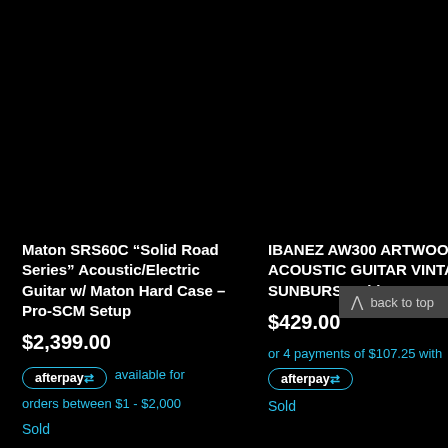Maton SRS60C “Solid Road Series” Acoustic/Electric Guitar w/ Maton Hard Case – Pro-SCM Setup
$2,399.00
afterpay available for orders between $1 - $2,000
Sold
IBANEZ AW300 ARTWOOD ACOUSTIC GUITAR VINTAGE SUNBURST with SOLID TOP
$429.00
or 4 payments of $107.25 with afterpay
Sold
back to top